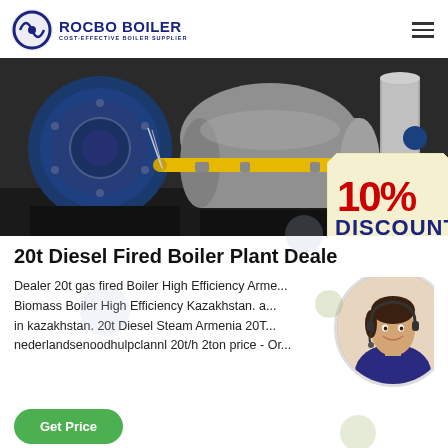ROCBO BOILER — COST-EFFECTIVE BOILER SUPPLIER
[Figure (photo): Industrial boiler equipment with blue burner assembly, yellow pipes, and metallic tanks in a plant setting. A 10% DISCOUNT badge overlaid in bottom-right corner.]
20t Diesel Fired Boiler Plant Deale...
Dealer 20t gas fired Boiler High Efficiency Arme... Biomass Boiler High Efficiency Kazakhstan. a... in kazakhstan. 20t Diesel Steam Armenia 20T... nederlandsenoodhulpclannl 20t/h 2ton price - Or...
[Figure (photo): Customer service agent woman wearing headset, smiling, in circular frame.]
Get Price